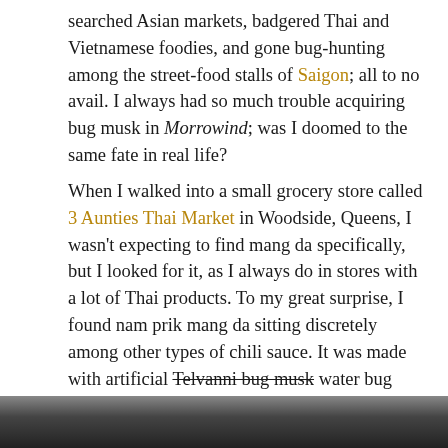searched Asian markets, badgered Thai and Vietnamese foodies, and gone bug-hunting among the street-food stalls of Saigon; all to no avail. I always had so much trouble acquiring bug musk in Morrowind; was I doomed to the same fate in real life?
When I walked into a small grocery store called 3 Aunties Thai Market in Woodside, Queens, I wasn't expecting to find mang da specifically, but I looked for it, as I always do in stores with a lot of Thai products. To my great surprise, I found nam prik mang da sitting discretely among other types of chili sauce. It was made with artificial Telvanni bug musk water bug essence. "Oh well," I thought. "That's the closest I'll get to the real thing without going to Thailand. I'd better buy it."
[Figure (photo): Partial photo visible at the bottom of the page, dark tones suggesting a product or store image.]